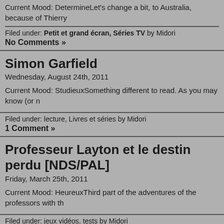Current Mood: DetermineLet's change a bit, to Australia, because of Thierry...
Filed under: Petit et grand écran, Séries TV by Midori
No Comments »
Simon Garfield
Wednesday, August 24th, 2011
Current Mood: StudieuxSomething different to read. As you may know (or n...
Filed under: lecture, Livres et séries by Midori
1 Comment »
Professeur Layton et le destin perdu [NDS/PAL]
Friday, March 25th, 2011
Current Mood: HeureuxThird part of the adventures of the professors with th...
Filed under: jeux vidéos, tests by Midori
No Comments »
Alexander McCall Smith
Monday, February 22nd, 2010
Current Mood: StudieuxI update this article due to my shopping and reading...